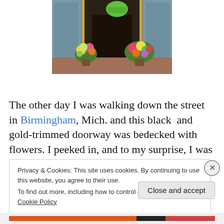[Figure (photo): Storefront with black and gold-trimmed doorway decorated with colorful flower arrangements on the sidewalk]
The other day I was walking down the street in Birmingham, Mich. and this black  and gold-trimmed doorway was bedecked with flowers. I peeked in, and to my surprise, I was greeted by Lama Tayeh (below), the
Privacy & Cookies: This site uses cookies. By continuing to use this website, you agree to their use.
To find out more, including how to control cookies, see here: Cookie Policy
Close and accept